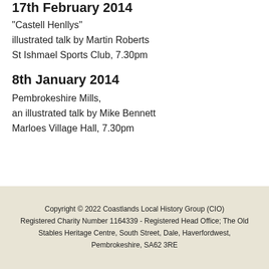17th February 2014
“Castell Henllys”
illustrated talk by Martin Roberts
St Ishmael Sports Club, 7.30pm
8th January 2014
Pembrokeshire Mills,
an illustrated talk by Mike Bennett
Marloes Village Hall, 7.30pm
Copyright © 2022 Coastlands Local History Group (CIO)
Registered Charity Number 1164339 - Registered Head Office; The Old Stables Heritage Centre, South Street, Dale, Haverfordwest, Pembrokeshire, SA62 3RE